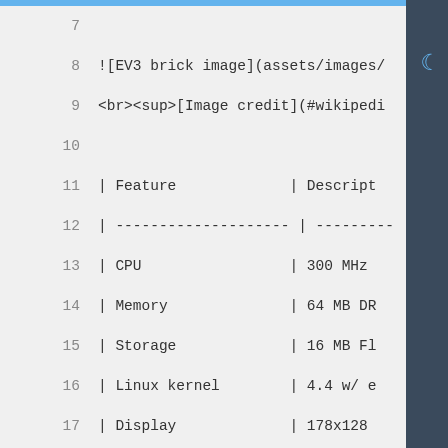7
8    ![EV3 brick image](assets/images/
9    <br><sup>[Image credit](#wikipedi
10
11   | Feature           | Descript
12   | -------------------- | ---------
13   | CPU                 | 300 MHz
14   | Memory              | 64 MB DR
15   | Storage             | 16 MB Fl
16   | Linux kernel        | 4.4 w/ e
17   | Display             | 178x128
18   | IEx terminal        | USB Gadg
19   | GPIO, I2C, SPI      | Yes - ev
20   | ADC                 | Yes
21   | PWM                 | Yes, but
22   | UART                | 4 availa
23   | Speakers            | Built-in
24   | Camera              | None
25   | Ethernet            | Requires
26   | WiFi                | Requires
27   | Bluetooth           | Not supp